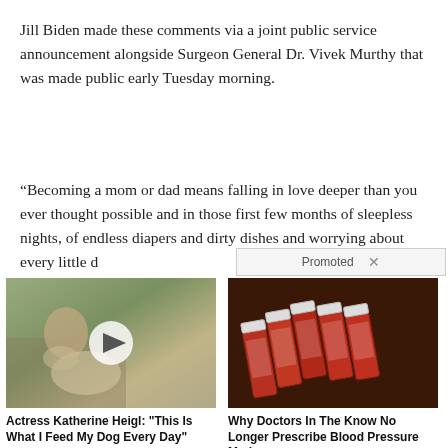Jill Biden made these comments via a joint public service announcement alongside Surgeon General Dr. Vivek Murthy that was made public early Tuesday morning.
“Becoming a mom or dad means falling in love deeper than you ever thought possible and in those first few months of sleepless nights, of endless diapers and dirty dishes and worrying about every little…
Promoted ×
[Figure (photo): Photo of actress Katherine Heigl with a dog outdoors, with a play button overlay indicating a video.]
Actress Katherine Heigl: "This Is What I Feed My Dog Every Day"
🔥 500
[Figure (photo): Photo of multiple prescription pill bottles lying on a surface.]
Why Doctors In The Know No Longer Prescribe Blood Pressure Meds
🔥 117,188